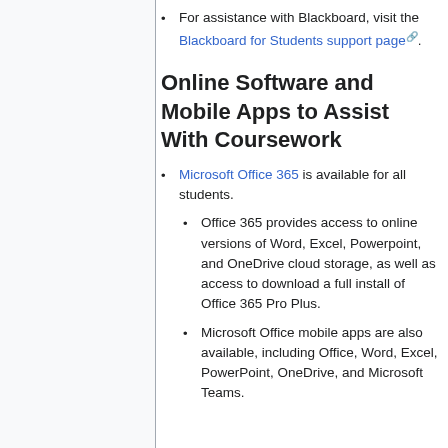For assistance with Blackboard, visit the Blackboard for Students support page [external link].
Online Software and Mobile Apps to Assist With Coursework
Microsoft Office 365 is available for all students.
Office 365 provides access to online versions of Word, Excel, Powerpoint, and OneDrive cloud storage, as well as access to download a full install of Office 365 Pro Plus.
Microsoft Office mobile apps are also available, including Office, Word, Excel, PowerPoint, OneDrive, and Microsoft Teams.